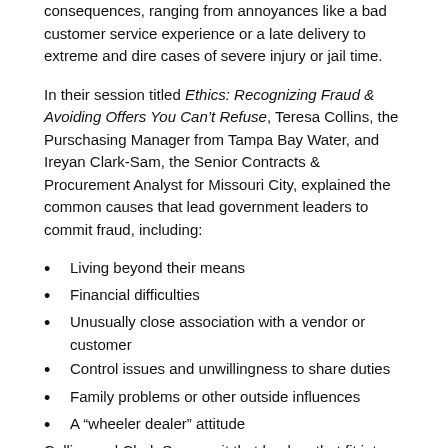consequences, ranging from annoyances like a bad customer service experience or a late delivery to extreme and dire cases of severe injury or jail time.
In their session titled Ethics: Recognizing Fraud & Avoiding Offers You Can't Refuse, Teresa Collins, the Purschasing Manager from Tampa Bay Water, and Ireyan Clark-Sam, the Senior Contracts & Procurement Analyst for Missouri City, explained the common causes that lead government leaders to commit fraud, including:
Living beyond their means
Financial difficulties
Unusually close association with a vendor or customer
Control issues and unwillingness to share duties
Family problems or other outside influences
A “wheeler dealer” attitude
Collins and Clark-Sam posit that leaders that fit into one or several of the groups above are uniquely impacted by The Fraud Triangle of: opportunity, rationalization, and pressure. And to prove it, they shared two case studies showcasing the illegal behavior of a mayor and a procurement officer, both of whom are now federal inmates.
Through a culture of transparency that includes preventative policies that make criminal behavior difficult and undesirable, this is an issue